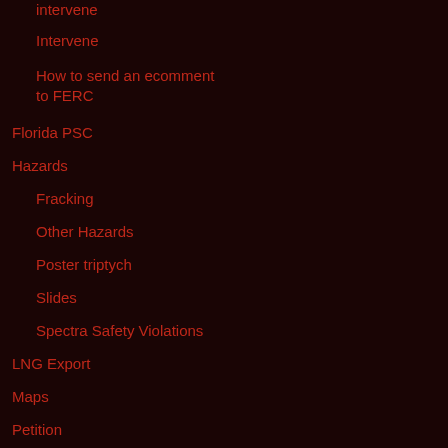intervene
Intervene
How to send an ecomment to FERC
Florida PSC
Hazards
Fracking
Other Hazards
Poster triptych
Slides
Spectra Safety Violations
LNG Export
Maps
Petition